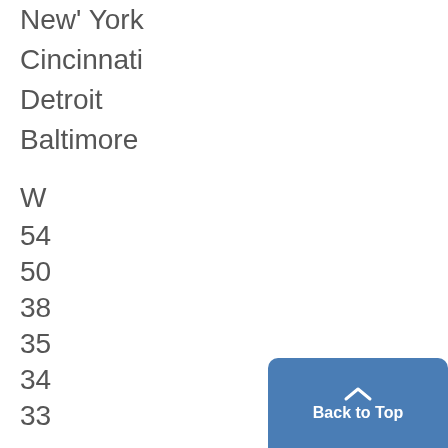New' York
Cincinnati
Detroit
Baltimore
W
54
50
38
35
34
33
Be-
[Figure (other): Back to Top button with upward arrow chevron in blue rounded rectangle]